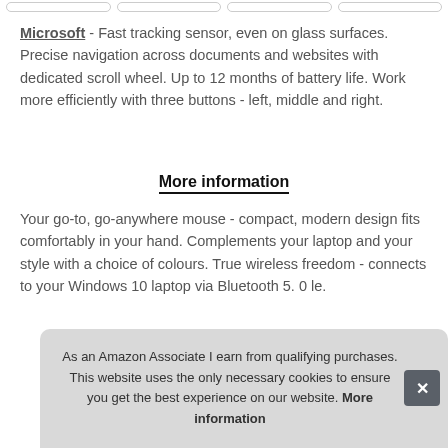[Figure (other): Top strip of rounded pill/tab navigation buttons]
Microsoft - Fast tracking sensor, even on glass surfaces. Precise navigation across documents and websites with dedicated scroll wheel. Up to 12 months of battery life. Work more efficiently with three buttons - left, middle and right.
More information
Your go-to, go-anywhere mouse - compact, modern design fits comfortably in your hand. Complements your laptop and your style with a choice of colours. True wireless freedom - connects to your Windows 10 laptop via Bluetooth 5. 0 le.
As an Amazon Associate I earn from qualifying purchases. This website uses the only necessary cookies to ensure you get the best experience on our website. More information